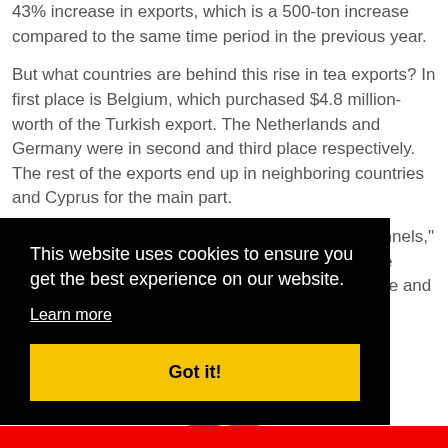43% increase in exports, which is a 500-ton increase compared to the same time period in the previous year.
But what countries are behind this rise in tea exports? In first place is Belgium, which purchased $4.8 million-worth of the Turkish export. The Netherlands and Germany were in second and third place respectively. The rest of the exports end up in neighboring countries and Cyprus for the main part.
“We pushed harder on retail and online sales channels,” said Ercin of Lazika. “We grew double in 2020. We started to export to six countries in Western Europe and Russia. Those ...y, our ...etwill ...DBEK, ports earned oftea is
This website uses cookies to ensure you get the best experience on our website.
Learn more
Got it!